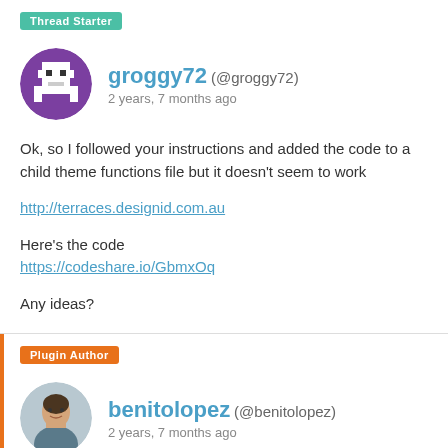Thread Starter
groggy72 (@groggy72)
2 years, 7 months ago
Ok, so I followed your instructions and added the code to a child theme functions file but it doesn't seem to work
http://terraces.designid.com.au
Here's the code
https://codeshare.io/GbmxOq
Any ideas?
Plugin Author
benitolopez (@benitolopez)
2 years, 7 months ago